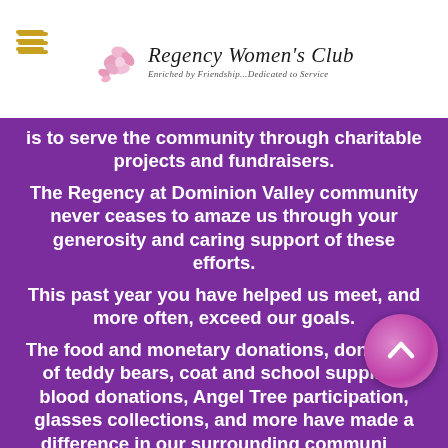Regency Women's Club — Enriched by Friendship...Dedicated to Service
is to serve the community through charitable projects and fundraisers.

The Regency at Dominion Valley community never ceases to amaze us through your generosity and caring support of these efforts.

This past year you have helped us meet, and more often, exceed our goals.

The food and monetary donations, donations of teddy bears, coat and school supplies, blood donations, Angel Tree participation, glasses collections, and more have made a difference in our surrounding community. Every single thing you do helps someone else. For that we are truly grateful.

You are the bright lights.